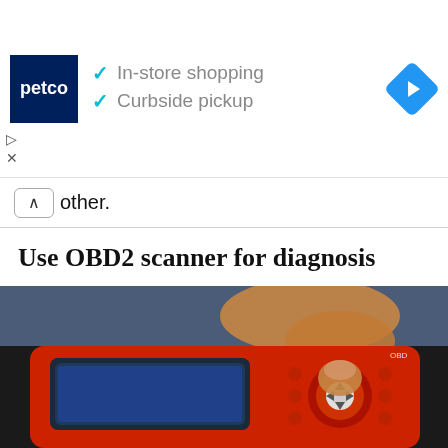[Figure (screenshot): Petco advertisement banner showing logo with 'In-store shopping' and 'Curbside pickup' checkmarks, and a navigation icon]
other.
Use OBD2 scanner for diagnosis
Since BMW 1 Series is equipped with on-board diagnostics (OBD), a fault diagnosis can provide initial indications of where the malfunction is located.
[Figure (photo): A hand pressing buttons on a red and black OBD2 scanner device]